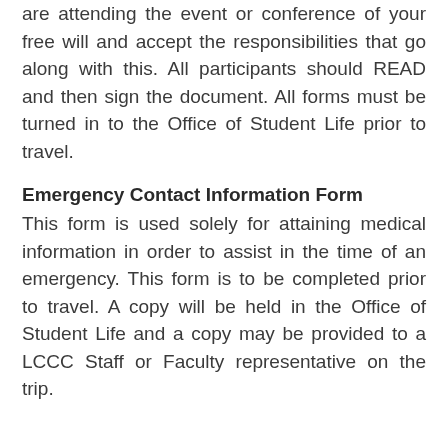are attending the event or conference of your free will and accept the responsibilities that go along with this.  All participants should READ and then sign the document.  All forms must be turned in to the Office of Student Life prior to travel.
Emergency Contact Information Form
This form is used solely for attaining medical information in order to assist in the time of an emergency.   This form is to be completed prior to travel.  A copy will be held in the Office of Student Life and a copy may be provided to a LCCC Staff or Faculty representative on the trip.
Conduct
It is important to remember that although